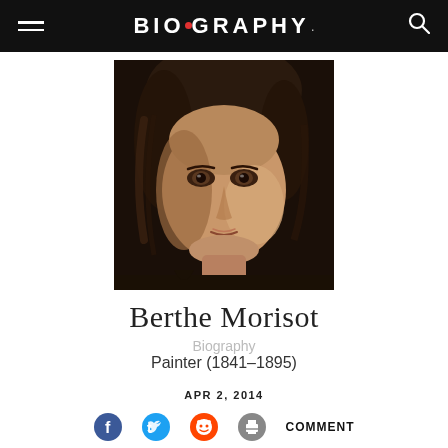BIOGRAPHY
[Figure (photo): Portrait painting of Berthe Morisot, close-up face, dark hair, impressionist style oil painting]
Berthe Morisot
Biography
Painter (1841–1895)
APR 2, 2014
COMMENT